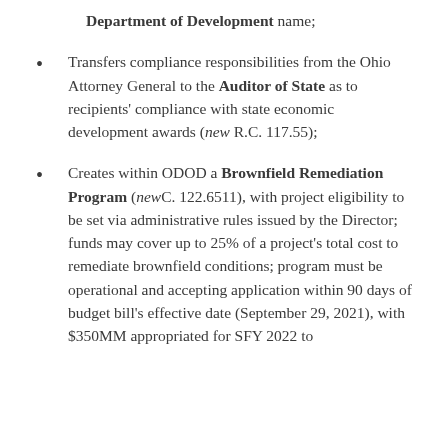Department of Development name;
Transfers compliance responsibilities from the Ohio Attorney General to the Auditor of State as to recipients' compliance with state economic development awards (new R.C. 117.55);
Creates within ODOD a Brownfield Remediation Program (newC. 122.6511), with project eligibility to be set via administrative rules issued by the Director; funds may cover up to 25% of a project's total cost to remediate brownfield conditions; program must be operational and accepting application within 90 days of budget bill's effective date (September 29, 2021), with $350MM appropriated for SFY 2022 to